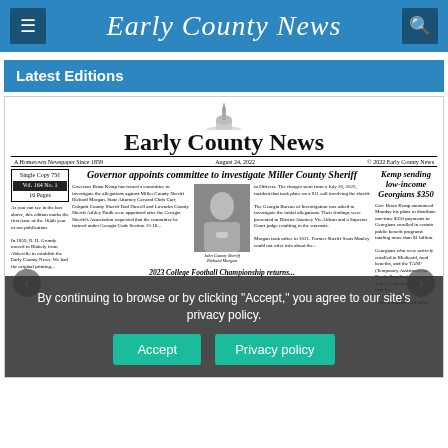Early County News
Latest Editions
[Figure (screenshot): Newspaper front page preview of Early County News, August 24, 2022. Contains headline 'Governor appoints committee to investigate Miller County Sheriff' and 'Kemp sending low-income Georgians $350'. Shows newspaper masthead with old English font, dateline 'A Hometown Newspaper Since 1859', photo of John County Sheriff Richard Morgan, and partial text columns. A cookie consent banner overlays the bottom with 'Accept' and 'Privacy policy' buttons.]
By continuing to browse or by clicking "Accept," you agree to our site's privacy policy.